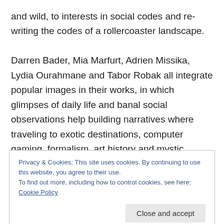and wild, to interests in social codes and re-writing the codes of a rollercoaster landscape.

Darren Bader, Mia Marfurt, Adrien Missika, Lydia Ourahmane and Tabor Robak all integrate popular images in their works, in which glimpses of daily life and banal social observations help building narratives where traveling to exotic destinations, computer gaming, formalism, art history and mystic afterlives become the doors to an alternate existence. Such “pop” images are tightly edited in order to shape the story intended to tell,
Privacy & Cookies: This site uses cookies. By continuing to use this website, you agree to their use.
To find out more, including how to control cookies, see here: Cookie Policy
Close and accept